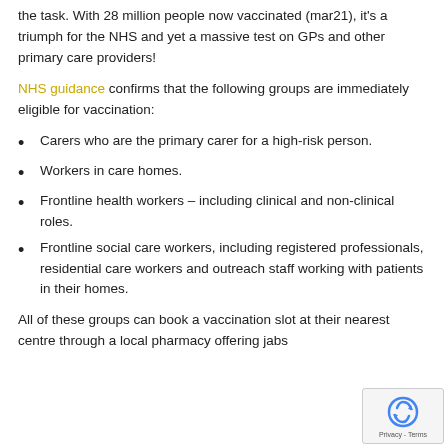the task. With 28 million people now vaccinated (mar21), it's a triumph for the NHS and yet a massive test on GPs and other primary care providers!
NHS guidance confirms that the following groups are immediately eligible for vaccination:
Carers who are the primary carer for a high-risk person.
Workers in care homes.
Frontline health workers – including clinical and non-clinical roles.
Frontline social care workers, including registered professionals, residential care workers and outreach staff working with patients in their homes.
All of these groups can book a vaccination slot at their nearest centre through a local pharmacy offering jabs